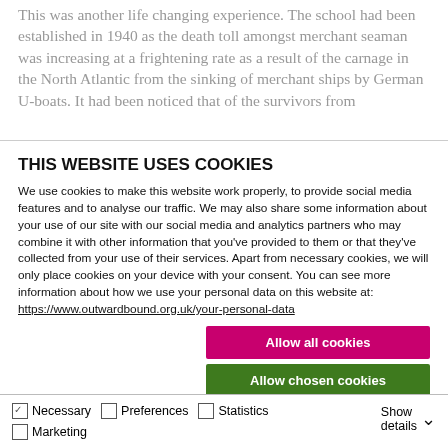This was another life changing experience. The school had been established in 1940 as the death toll amongst merchant seaman was increasing at a frightening rate as a result of the carnage in the North Atlantic from the sinking of merchant ships by German U-boats. It had been noticed that of the survivors from
THIS WEBSITE USES COOKIES
We use cookies to make this website work properly, to provide social media features and to analyse our traffic. We may also share some information about your use of our site with our social media and analytics partners who may combine it with other information that you've provided to them or that they've collected from your use of their services. Apart from necessary cookies, we will only place cookies on your device with your consent. You can see more information about how we use your personal data on this website at: https://www.outwardbound.org.uk/your-personal-data
Allow all cookies
Allow chosen cookies
Use necessary cookies only
Necessary  Preferences  Statistics  Marketing  Show details